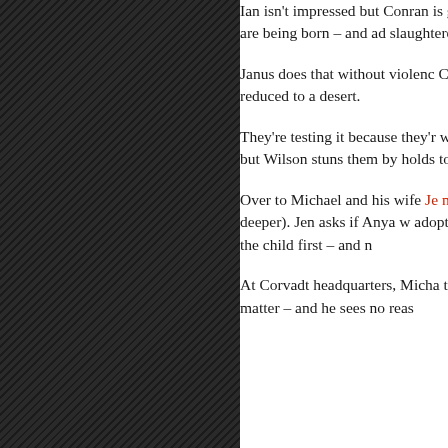Ian isn't impressed but Conran is genocidal. He says a third of the people are being born – and adds slaughtered millions of people all over the world today.
Janus does that without violence. Conran admits he has that and world reduced to a desert.
They're testing it because they're work. But they need the manuscript him – but Wilson stuns them by holds to his guns – if Conran is
Over to Michael and his wife Jen now-pregnant prostitute, Anya (a little deeper). Jen asks if Anya w adopting the baby – since it is M didn't want the child first – and n
At Corvadt headquarters, Michael the vaccine, but the Assistant (w to matter – and he sees no reas